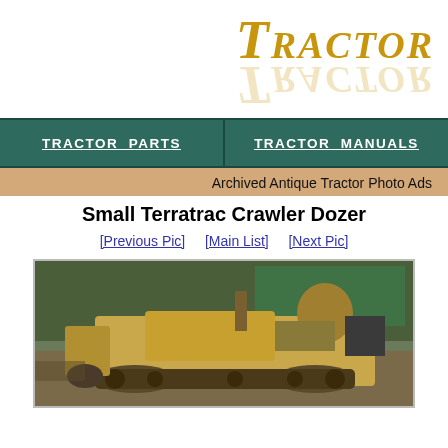[Figure (logo): Tractor website logo with gold stylized text 'Tractor' and reflection]
TRACTOR PARTS   TRACTOR MANUALS
Archived Antique Tractor Photo Ads
Small Terratrac Crawler Dozer
[Previous Pic]  [Main List]  [Next Pic]
[Figure (photo): Photo of a small Terratrac crawler dozer tractor outdoors with trees in background]